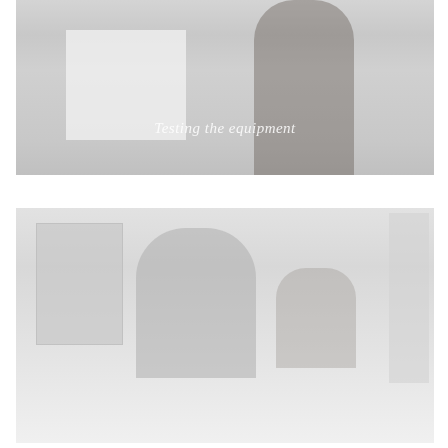[Figure (photo): Photograph of people testing equipment in a room, showing a whiteboard or panel on the left and a person or dark figure on the right, with a caption overlay reading 'Testing the equipment']
Testing the equipment
[Figure (photo): Second photograph showing people or equipment in a room, with panels and figures visible, very light/washed out appearance]